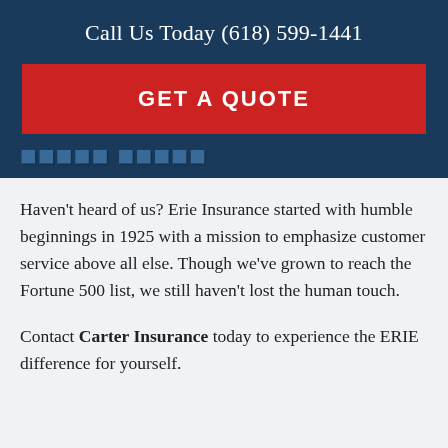Call Us Today (618) 599-1441
GET A QUOTE
[partial heading — partially visible]
Haven't heard of us? Erie Insurance started with humble beginnings in 1925 with a mission to emphasize customer service above all else. Though we've grown to reach the Fortune 500 list, we still haven't lost the human touch.
Contact Carter Insurance today to experience the ERIE difference for yourself.